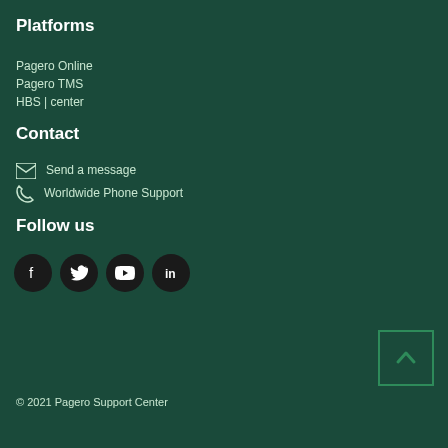Platforms
Pagero Online
Pagero TMS
HBS | center
Contact
Send a message
Worldwide Phone Support
Follow us
[Figure (infographic): Social media icons: Facebook, Twitter, YouTube, LinkedIn]
© 2021 Pagero Support Center